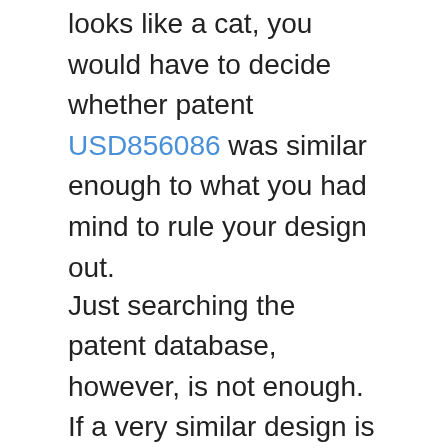looks like a cat, you would have to decide whether patent USD856086 was similar enough to what you had mind to rule your design out.
Just searching the patent database, however, is not enough. If a very similar design is